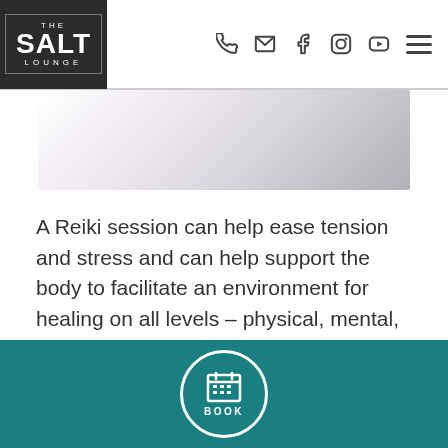THE SALT LOUNGE — navigation header with logo and icons
[Figure (photo): Cropped photo showing a person lying down, soft blurred background in whites and purples suggesting a relaxation or massage setting]
A Reiki session can help ease tension and stress and can help support the body to facilitate an environment for healing on all levels – physical, mental, and emotional.
Clients are fully clothed and the practitioner will place hands above the body. A recipient of Reiki might feel a warming sensation or a tingling during the session or nothing but sheer relaxation. Reiki sessions can take place in one of our massage rooms
BOOK — booking button in teal footer bar